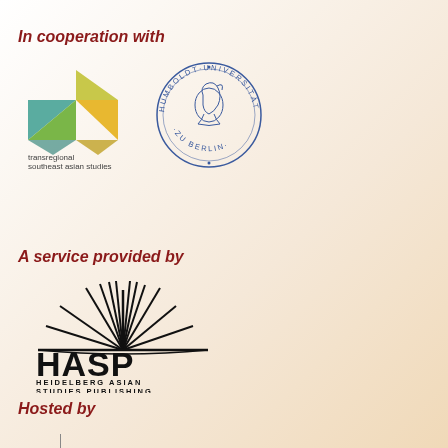In cooperation with
[Figure (logo): Transregional Southeast Asian Studies logo - geometric triangular shapes in teal, green, and yellow with text below]
[Figure (logo): Humboldt-Universität zu Berlin circular seal with profile portrait in blue]
A service provided by
[Figure (logo): HASP - Heidelberg Asian Studies Publishing logo with sunburst/book rays graphic above bold HASP text and full name below]
Hosted by